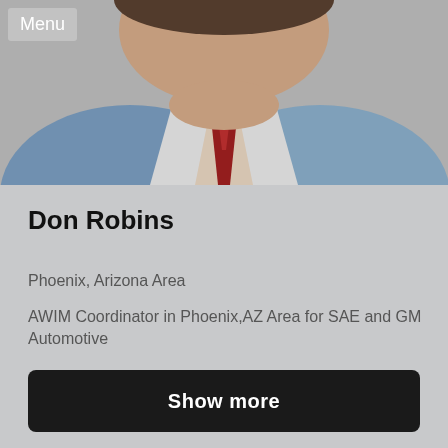[Figure (photo): Headshot photo of Don Robins, a man wearing a blue sweater and red tie with white shirt, photo cropped to show neck and lower face area]
Menu
Don Robins
Phoenix, Arizona Area
AWIM Coordinator in Phoenix,AZ Area for SAE and GM Automotive
Show more